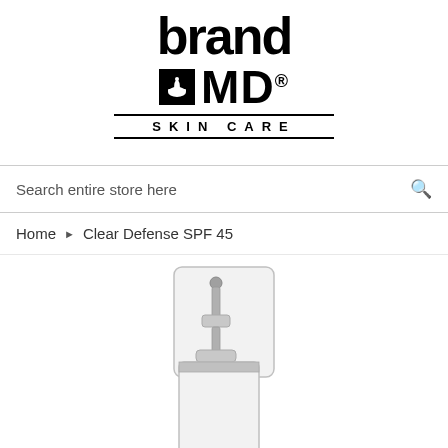[Figure (logo): Brand MD Skin Care logo with mortar and pestle icon in black square]
Search entire store here
Home  ▶  Clear Defense SPF 45
[Figure (photo): Product photo of Clear Defense SPF 45 pump bottle with clear cap, silver/white airless pump dispenser]